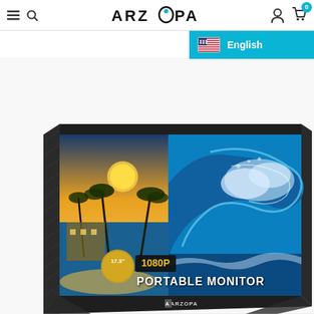ARZOPA navigation bar with hamburger menu, search icon, logo, account icon, and cart (0)
[Figure (screenshot): Language selector dropdown showing English with US flag on teal/cyan background]
[Figure (photo): ARZOPA 17.3 inch 1080P Portable Monitor product photo showing the monitor propped up displaying a tropical beach and ocean wave image, with text overlay '17.3" 1080P PORTABLE MONITOR' and ARZOPA logo on the bottom bezel]